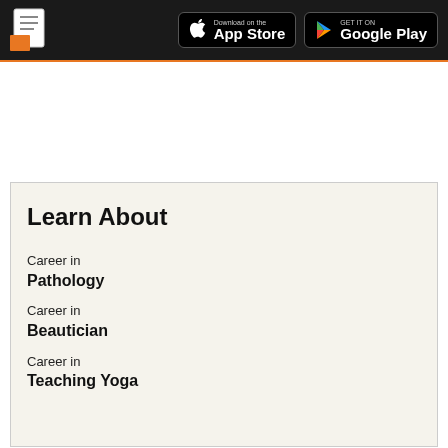App logo | Download on the App Store | GET IT ON Google Play
Learn About
Career in
Pathology
Career in
Beautician
Career in
Teaching Yoga